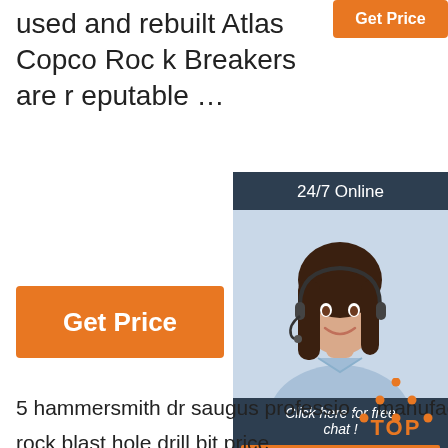used and rebuilt Atlas Copco Rock Breakers are reputable …
[Figure (other): Orange 'Get Price' button (top right, partially visible)]
[Figure (other): Orange 'Get Price' button (main, left side)]
[Figure (other): 24/7 Online chat widget with photo of smiling woman with headset, 'Click here for free chat!' text, and orange QUOTATION button]
5 hammersmith dr saugus professional manufacturer
rock blast hole drill bit price
dynamic rock bolts features
square tapered auger bits
tapered wood dowel rods professional manufacturer
button bit t51 nigeria
[Figure (other): Orange 'TOP' icon with dotted triangle above the text at bottom right]